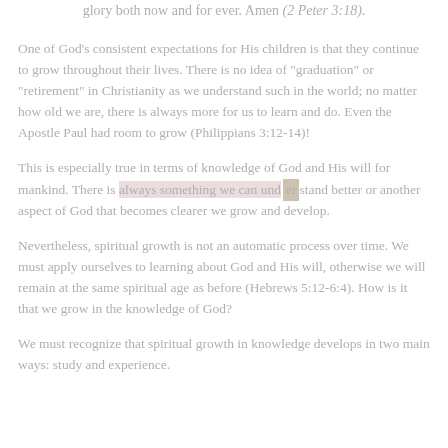glory both now and for ever. Amen (2 Peter 3:18).
One of God's consistent expectations for His children is that they continue to grow throughout their lives. There is no idea of "graduation" or "retirement" in Christianity as we understand such in the world; no matter how old we are, there is always more for us to learn and do. Even the Apostle Paul had room to grow (Philippians 3:12-14)!
This is especially true in terms of knowledge of God and His will for mankind. There is always something we can understand better or another aspect of God that becomes clearer we grow and develop.
Nevertheless, spiritual growth is not an automatic process over time. We must apply ourselves to learning about God and His will, otherwise we will remain at the same spiritual age as before (Hebrews 5:12-6:4). How is it that we grow in the knowledge of God?
We must recognize that spiritual growth in knowledge develops in two main ways: study and experience.